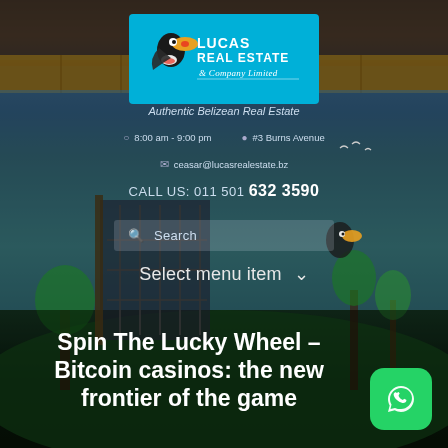[Figure (logo): Lucas Real Estate & Company Limited logo with toucan bird on cyan background]
Authentic Belizean Real Estate
8:00 am - 9:00 pm
#3 Burns Avenue
ceasar@lucasrealestate.bz
CALL US: 011 501 632 3590
Search
Select menu item
Spin The Lucky Wheel – Bitcoin casinos: the new frontier of the game
[Figure (logo): WhatsApp green button icon]